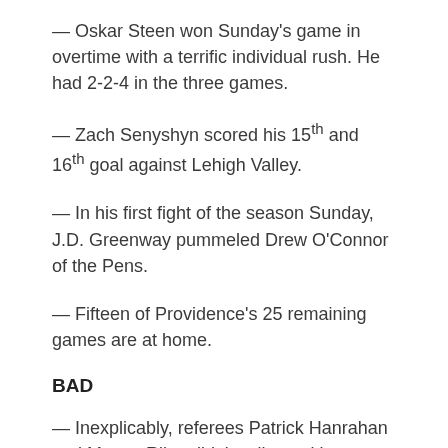— Oskar Steen won Sunday's game in overtime with a terrific individual rush. He had 2-2-4 in the three games.
— Zach Senyshyn scored his 15th and 16th goal against Lehigh Valley.
— In his first fight of the season Sunday, J.D. Greenway pummeled Drew O'Connor of the Pens.
— Fifteen of Providence's 25 remaining games are at home.
BAD
— Inexplicably, referees Patrick Hanrahan and Mason Riley didn't call penalties on two blatant collisions in the crease involving Troy Grosenick and Kyle Keyser on